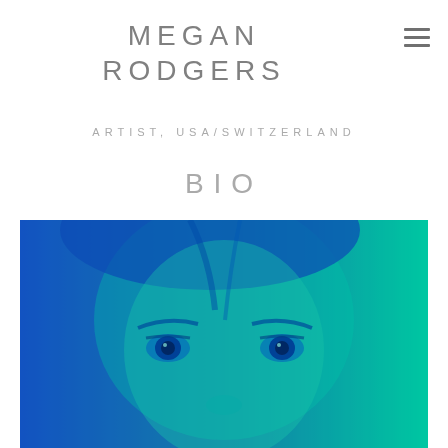MEGAN RODGERS
ARTIST, USA/SWITZERLAND
BIO
[Figure (photo): Close-up portrait of a woman with blue-green duotone color treatment. The face fills the frame, showing eyes prominently. Blue and green hues dominate the image.]